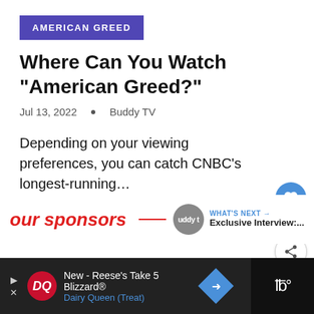AMERICAN GREED
Where Can You Watch “American Greed?”
Jul 13, 2022  •  Buddy TV
Depending on your viewing preferences, you can catch CNBC’s longest-running…
[Figure (infographic): Social interaction buttons: heart/like button (blue circle with heart icon), like count '1', share button (white circle with share icon)]
our sponsors
[Figure (infographic): WHAT'S NEXT arrow label with Buddy TV circle logo and text 'Exclusive Interview:...']
[Figure (infographic): Advertisement bar: Dairy Queen ad for New Reese's Take 5 Blizzard with DQ logo, navigation arrow diamond icon, and dark right panel with audio/video icon]